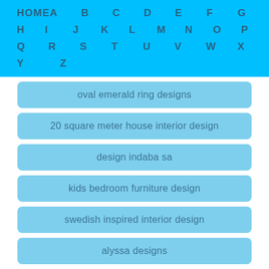HOME  A  B  C  D  E  F  G  H  I  J  K  L  M  N  O  P  Q  R  S  T  U  V  W  X  Y  Z
oval emerald ring designs
20 square meter house interior design
design indaba sa
kids bedroom furniture design
swedish inspired interior design
alyssa designs
jjw designs graphics